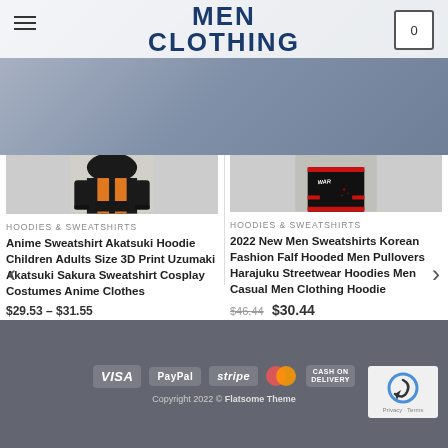MEN CLOTHING
[Figure (photo): Orange and black striped anime hoodie/sweatshirt product photo]
HOODIES & SWEATSHIRTS
Anime Sweatshirt Akatsuki Hoodie Children Adults Size 3D Print Uzumaki Akatsuki Sakura Sweatshirt Cosplay Costumes Anime Clothes
$29.53 – $31.55
[Figure (photo): Black hoodie with red accents and white graffiti lettering product photo]
HOODIES & SWEATSHIRTS
2022 New Men Sweatshirts Korean Fashion Falf Hooded Men Pullovers Harajuku Streetwear Hoodies Men Casual Men Clothing Hoodie
$46.44  $30.44
VISA  PayPal  stripe  MasterCard  CASH ON DELIVERY  Copyright 2022 © Flatsome Theme  Privacy · Terms